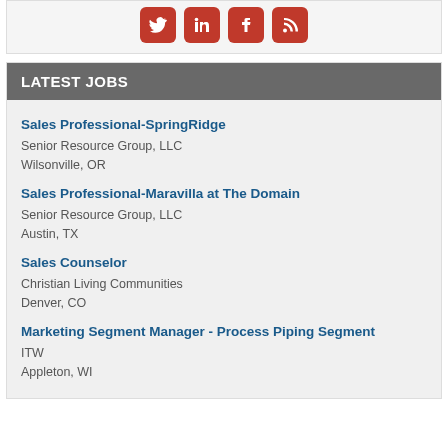[Figure (illustration): Social media icons: Twitter, LinkedIn, Facebook, RSS feed — white icons on red rounded square buttons]
LATEST JOBS
Sales Professional-SpringRidge
Senior Resource Group, LLC
Wilsonville, OR
Sales Professional-Maravilla at The Domain
Senior Resource Group, LLC
Austin, TX
Sales Counselor
Christian Living Communities
Denver, CO
Marketing Segment Manager - Process Piping Segment
ITW
Appleton, WI